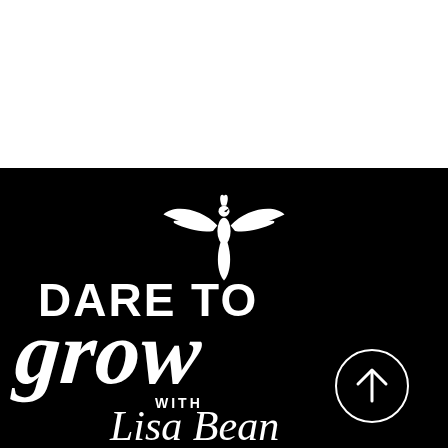[Figure (logo): Dare to Grow with Lisa Bean podcast logo. Black background with white phoenix bird silhouette above the text. Large bold sans-serif 'DARE TO' on left, large script-style 'grow' below, 'WITH' in small caps and 'Lisa Bean' in script font beneath. A circle with upward arrow icon on the right side.]